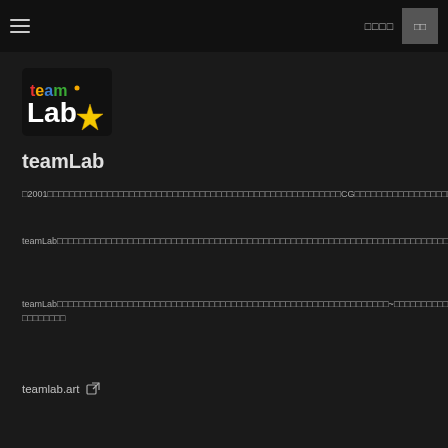□□□□  □□
[Figure (logo): teamLab logo with colorful text and yellow star]
teamLab
□2001□□□□□□□□□□□□□□□□□□□□□□□□□□□□□□□□□□□□□□□□□□□□□□□□□□□□□□CG□□□□□□□□□□□□□□□□□□□□
teamLab□□□□□□□□□□□□□□□□□□□□□□□□□□□□□□□□□□□□□□□□□□□□□□□□□□□□□□□□□□□□□□□□□□□□□□□□□□□□□□□□□□□□□□□□□□□□□□□□□□□□□□□□□□□□□□□□□□□□□□□□□□□□□□□□□□□□□□□□□□□□□□□□□□□□□□□□□□□□□□□□□□□□□□□□□□□□□□□□□□□□
teamLab□□□□□□□□□□□□□□□□□□□□□□□□□□□□□□□□□□□□□□□□□□□□□□□□□□□□□□□□□□□□□~□□□□□□□□□□□□□□□□□□□□Borusan□□□□□□□□□□□□□□□□□□□□□□□-□□□□□□□□
teamlab.art  🔗